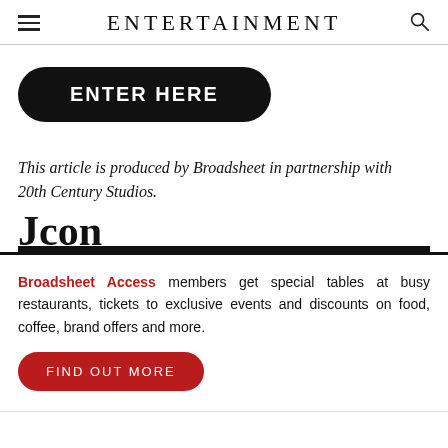ENTERTAINMENT
[Figure (other): Black rounded rectangle button with white bold text 'ENTER HERE']
This article is produced by Broadsheet in partnership with 20th Century Studios.
[Figure (other): Partially visible bold serif text/logo at bottom of upper section, with a thick black horizontal bar below]
Broadsheet Access members get special tables at busy restaurants, tickets to exclusive events and discounts on food, coffee, brand offers and more.
[Figure (other): Red rounded rectangle button with white uppercase text 'FIND OUT MORE']